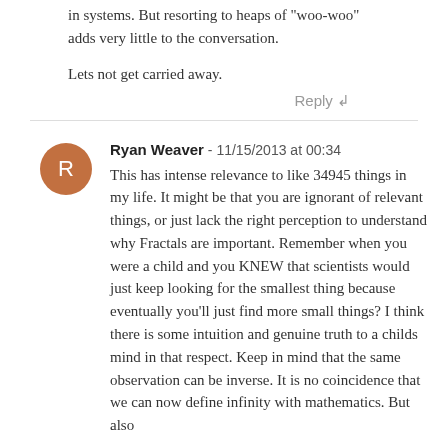in systems. But resorting to heaps of "woo-woo" adds very little to the conversation.

Lets not get carried away.
Reply ↲
Ryan Weaver - 11/15/2013 at 00:34
This has intense relevance to like 34945 things in my life. It might be that you are ignorant of relevant things, or just lack the right perception to understand why Fractals are important. Remember when you were a child and you KNEW that scientists would just keep looking for the smallest thing because eventually you'll just find more small things? I think there is some intuition and genuine truth to a childs mind in that respect. Keep in mind that the same observation can be inverse. It is no coincidence that we can now define infinity with mathematics. But also